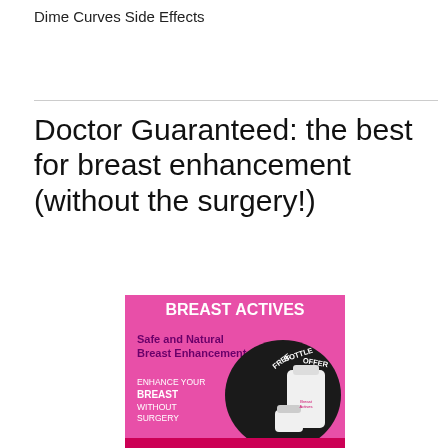Dime Curves Side Effects
Doctor Guaranteed: the best for breast enhancement (without the surgery!)
[Figure (illustration): Breast Actives advertisement banner with pink background showing product bottles and text: BREAST ACTIVES, Safe and Natural Breast Enhancement, ENHANCE YOUR BREAST WITHOUT SURGERY, FREE BOTTLE OFFER]